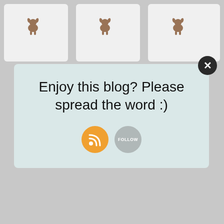[Figure (screenshot): Blog popup overlay on a product grid page showing dog-themed shop items with small dog icons as placeholders. Popup says 'Enjoy this blog? Please spread the word :)' with RSS and Follow buttons. Below the overlay are product tiles with 'buy from' text and dog icons, and bottom row shows actual product images in circular frames.]
Enjoy this blog? Please spread the word :)
buy from
buy from
buy from